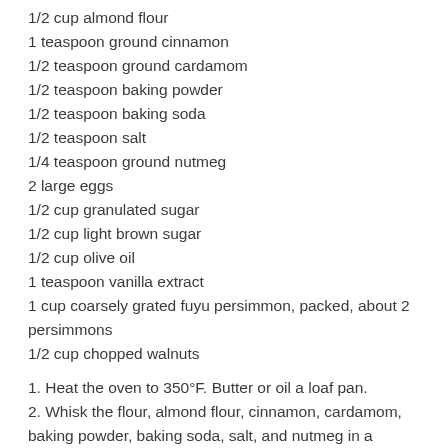1/2 cup almond flour
1 teaspoon ground cinnamon
1/2 teaspoon ground cardamom
1/2 teaspoon baking powder
1/2 teaspoon baking soda
1/2 teaspoon salt
1/4 teaspoon ground nutmeg
2 large eggs
1/2 cup granulated sugar
1/2 cup light brown sugar
1/2 cup olive oil
1 teaspoon vanilla extract
1 cup coarsely grated fuyu persimmon, packed, about 2 persimmons
1/2 cup chopped walnuts
1. Heat the oven to 350°F. Butter or oil a loaf pan.
2. Whisk the flour, almond flour, cinnamon, cardamom, baking powder, baking soda, salt, and nutmeg in a medium